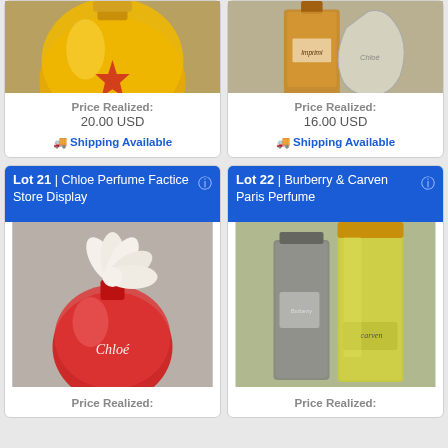[Figure (photo): Yellow/amber round perfume bottle, top-cropped]
Price Realized:
20.00 USD
🚚 Shipping Available
[Figure (photo): Two perfume bottles - Burberry and Chloe, top-cropped]
Price Realized:
16.00 USD
🚚 Shipping Available
Lot 21 | Chloe Perfume Factice Store Display
[Figure (photo): Chloe perfume bottle - red round bottle with white flower stopper]
Price Realized:
Lot 22 | Burberry & Carven Paris Perfume
[Figure (photo): Two bottles - Burberry and Carven Paris perfume]
Price Realized: